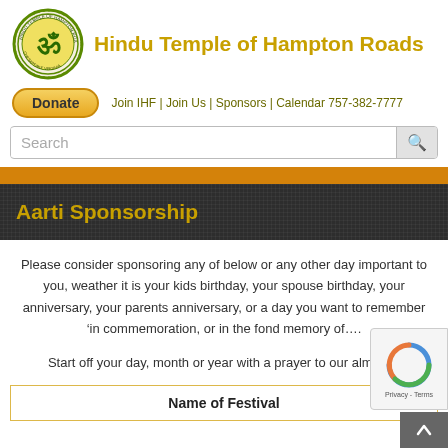[Figure (logo): Hindu Temple of Hampton Roads circular logo with Om symbol]
Hindu Temple of Hampton Roads
Donate | Join IHF | Join Us | Sponsors | Calendar 757-382-7777
Search
Aarti Sponsorship
Please consider sponsoring any of below or any other day important to you, weather it is your kids birthday, your spouse birthday, your anniversary, your parents anniversary, or a day you want to remember ‘in commemoration, or in the fond memory of….
Start off your day, month or year with a prayer to our almighty
| Name of Festival |
| --- |